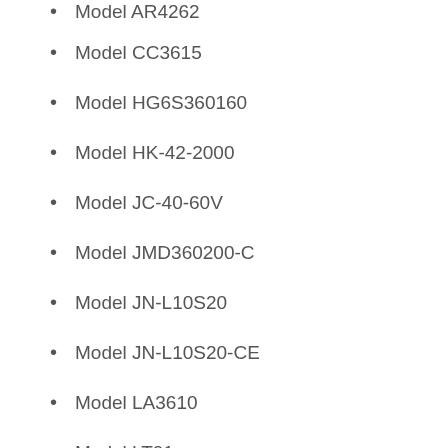Model AR4262
Model CC3615
Model HG6S360160
Model HK-42-2000
Model JC-40-60V
Model JMD360200-C
Model JN-L10S20
Model JN-L10S20-CE
Model LA3610
Model LT01
Model MPT12
Model PA-84W